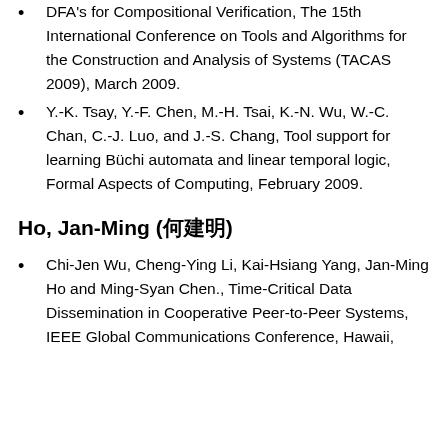DFA's for Compositional Verification, The 15th International Conference on Tools and Algorithms for the Construction and Analysis of Systems (TACAS 2009), March 2009.
Y.-K. Tsay, Y.-F. Chen, M.-H. Tsai, K.-N. Wu, W.-C. Chan, C.-J. Luo, and J.-S. Chang, Tool support for learning Büchi automata and linear temporal logic, Formal Aspects of Computing, February 2009.
Ho, Jan-Ming (何建明)
Chi-Jen Wu, Cheng-Ying Li, Kai-Hsiang Yang, Jan-Ming Ho and Ming-Syan Chen., Time-Critical Data Dissemination in Cooperative Peer-to-Peer Systems, IEEE Global Communications Conference, Hawaii,